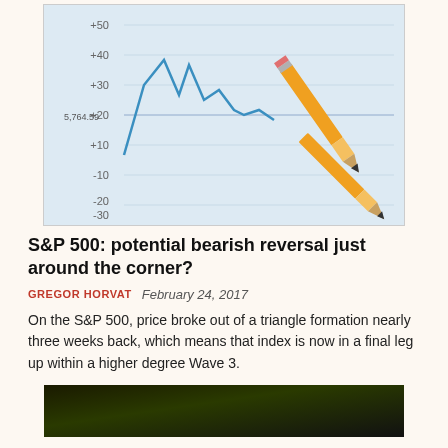[Figure (photo): Photo of a financial chart showing a line graph with values ranging from -30 to +50, with two pencils pointing at the chart near the zero line, suggesting a bearish reversal point.]
S&P 500: potential bearish reversal just around the corner?
GREGOR HORVAT   February 24, 2017
On the S&P 500, price broke out of a triangle formation nearly three weeks back, which means that index is now in a final leg up within a higher degree Wave 3.
[Figure (photo): Dark image with green foliage, partially visible at the bottom of the page.]